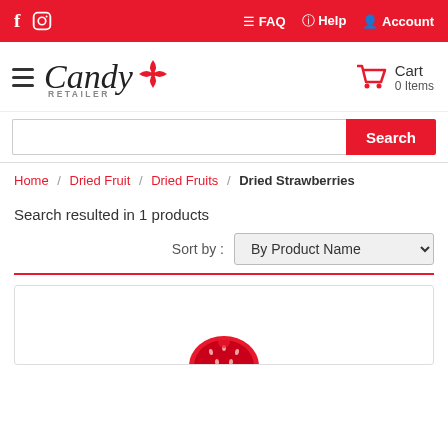f  (instagram)  FAQ  Help  Account
[Figure (logo): Candy Retailer logo with stylized script text and red pinwheel icon]
Cart  0 Items
Search
Home / Dried Fruit / Dried Fruits / Dried Strawberries
Search resulted in 1 products
Sort by :  By Product Name
[Figure (photo): Partial view of dried strawberry product image at bottom of page]